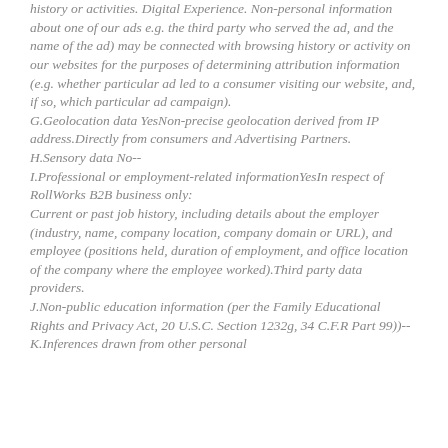history or activities. Digital Experience. Non-personal information about one of our ads e.g. the third party who served the ad, and the name of the ad) may be connected with browsing history or activity on our websites for the purposes of determining attribution information (e.g. whether particular ad led to a consumer visiting our website, and, if so, which particular ad campaign).
G. Geolocation data Yes Non-precise geolocation derived from IP address. Directly from consumers and Advertising Partners.
H. Sensory data No--
I. Professional or employment-related information Yes In respect of RollWorks B2B business only: Current or past job history, including details about the employer (industry, name, company location, company domain or URL), and employee (positions held, duration of employment, and office location of the company where the employee worked). Third party data providers.
J. Non-public education information (per the Family Educational Rights and Privacy Act, 20 U.S.C. Section 1232g, 34 C.F.R Part 99))--
K. Inferences drawn from other personal